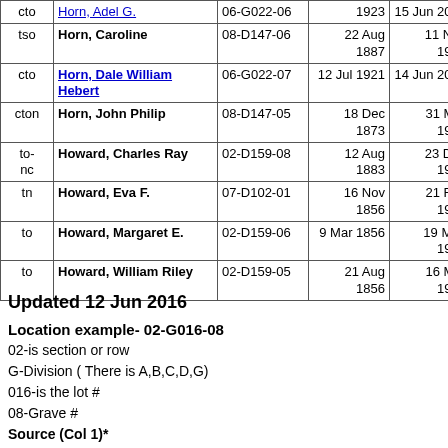|  | Name | Location | Born | Died | Spouse |
| --- | --- | --- | --- | --- | --- |
| cto | Horn, Adel G. | 06-G022-06 | 1923 | 15 Jun 2005 | Duk |
| tso | Horn, Caroline | 08-D147-06 | 22 Aug 1887 | 11 Nov 1966 | John |
| cto | Horn, Dale William Hebert | 06-G022-07 | 12 Jul 1921 | 14 Jun 2002 | Adel |
| cton | Horn, John Philip | 08-D147-05 | 18 Dec 1873 | 31 Mar 1931 | Carol |
| to-nc | Howard, Charles Ray | 02-D159-08 | 12 Aug 1883 | 23 Dec 1962 | Rose |
| tn | Howard, Eva F. | 07-D102-01 | 16 Nov 1856 | 21 Feb 1916 | E.J. H |
| to | Howard, Margaret E. | 02-D159-06 | 9 Mar 1856 | 19 May 1941 | Willi Howa |
| to | Howard, William Riley | 02-D159-05 | 21 Aug 1856 | 16 Mar 1920 | Marg McB |
Updated 12 Jun 2016
Location example- 02-G016-08
02-is section or row
G-Division ( There is A,B,C,D,G)
016-is the lot #
08-Grave #
Source (Col 1)*